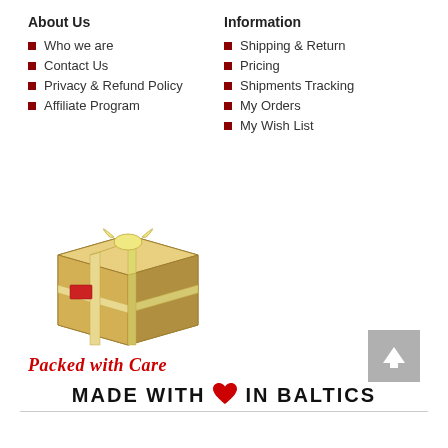About Us
Who we are
Contact Us
Privacy & Refund Policy
Affiliate Program
Information
Shipping & Return
Pricing
Shipments Tracking
My Orders
My Wish List
[Figure (illustration): A cardboard package/box wrapped with a yellow ribbon bow, with a red label sticker on it — a shipping package illustration.]
Packed with Care
MADE WITH ♥ IN BALTICS
About Us  Contact Us  Promotions  Privacy & Refund Policy  Sitemap
© 2004-2022 Amber Pieces